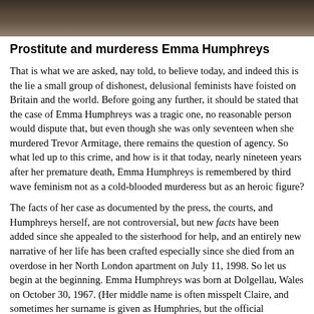[Figure (photo): Partial photograph of a person, dark toned image cropped at top of page]
Prostitute and murderess Emma Humphreys
That is what we are asked, nay told, to believe today, and indeed this is the lie a small group of dishonest, delusional feminists have foisted on Britain and the world. Before going any further, it should be stated that the case of Emma Humphreys was a tragic one, no reasonable person would dispute that, but even though she was only seventeen when she murdered Trevor Armitage, there remains the question of agency. So what led up to this crime, and how is it that today, nearly nineteen years after her premature death, Emma Humphreys is remembered by third wave feminism not as a cold-blooded murderess but as an heroic figure?
The facts of her case as documented by the press, the courts, and Humphreys herself, are not controversial, but new facts have been added since she appealed to the sisterhood for help, and an entirely new narrative of her life has been crafted especially since she died from an overdose in her North London apartment on July 11, 1998. So let us begin at the beginning. Emma Humphreys was born at Dolgellau, Wales on October 30, 1967. (Her middle name is often misspelt Claire, and sometimes her surname is given as Humphries, but the official microfiche gives her birth name as Emma Clare Humphreys). Her mother's maiden name was